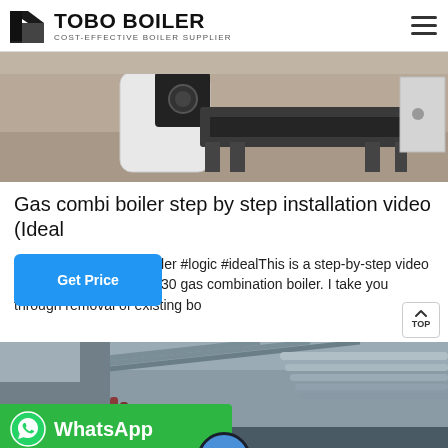TOBO BOILER — COST-EFFECTIVE BOILER SUPPLIER
[Figure (photo): Industrial boiler equipment on a factory floor, white cylindrical boiler unit with black components on a metal frame]
Gas combi boiler step by step installation video (Ideal
#boiler #logic #idealThis is a step-by-step video of an Ideal Logic Max C30 gas combination boiler. I take you through removal of existing bo
[Figure (photo): Industrial piping in a warehouse or plant facility, metal pipes running along ceiling, reddish pipework visible]